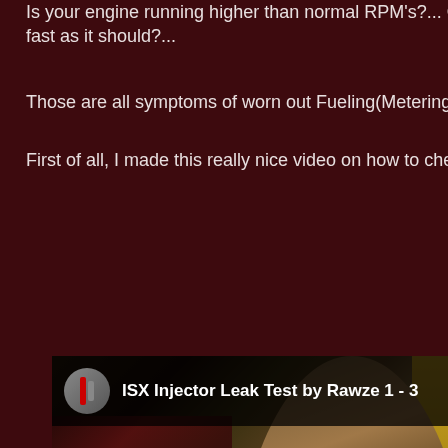Is your engine running higher than normal RPM's?... Or you fast as it should?...
Those are all symptoms of worn out Fueling(Metering) and/o
First of all, I made this really nice video on how to check to s
[Figure (screenshot): YouTube video thumbnail for 'ISX Injector Leak Test by Rawze 1 - 3' showing a mechanic working on a truck engine with a red YouTube play button overlay]